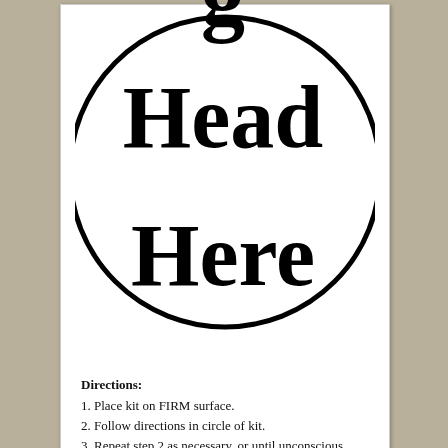[Figure (illustration): A large circle with the text 'Head Here' inside, partially cropped at the top. Below the circle are directions.]
Directions:
1. Place kit on FIRM surface.
2. Follow directions in circle of kit.
3. Repeat step 2 as necessary, or until unconscious.
4. If unconscious, cease stress reduction activity.
Yesterday was such a Monday.  I mean, really, it was a MONDAY.   From the instant I got out of bed until I got home at 5:30, my day was full of stress producing interactions.  I can't really detail them here, but I had to defend an individual's right to have, and state, a position with which I strongly disagree.  It caused a need for multiple unpleasant meetings, and in between that there were a lot of other fires to put out.  By the time I drove home (with my brain...